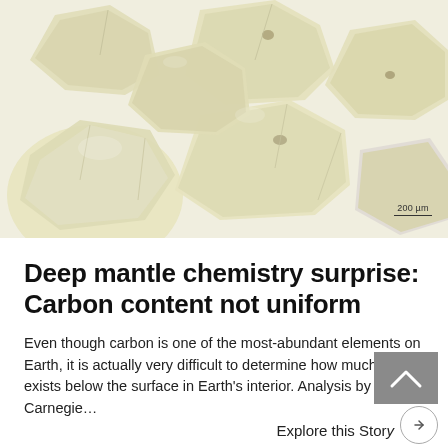[Figure (photo): Macro photograph of multiple yellowish-green rough diamond crystals on a white background, with a 200 µm scale bar in the lower right corner.]
Deep mantle chemistry surprise: Carbon content not uniform
Even though carbon is one of the most-abundant elements on Earth, it is actually very difficult to determine how much of it exists below the surface in Earth's interior. Analysis by Carnegie…
Explore this Story